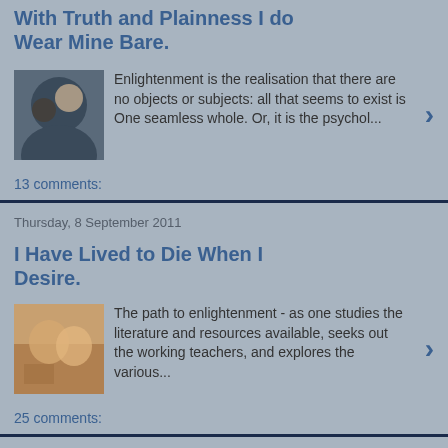With Truth and Plainness I do Wear Mine Bare.
Enlightenment is the realisation that there are no objects or subjects: all that seems to exist is One seamless whole. Or, it is the psychol...
13 comments:
Thursday, 8 September 2011
I Have Lived to Die When I Desire.
The path to enlightenment - as one studies the literature and resources available, seeks out the working teachers, and explores the various...
25 comments:
Monday, 18 July 2011
A Fool That Seest a Game Play'd Home, the Rich Stake